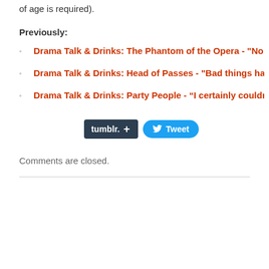of age is required).
Previously:
Drama Talk & Drinks: The Phantom of the Opera - "No means no
Drama Talk & Drinks: Head of Passes - "Bad things happen to g
Drama Talk & Drinks: Party People - “I certainly couldn’t dance l
[Figure (other): Tumblr share button and Tweet button social sharing widgets]
Comments are closed.